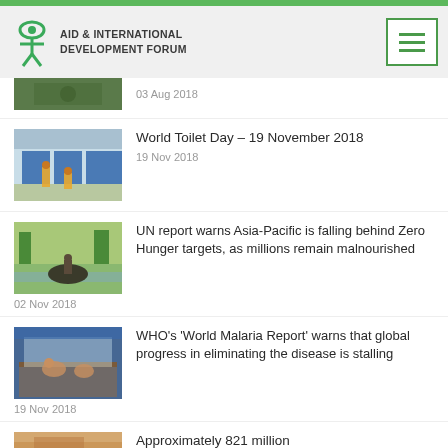[Figure (logo): Aid & International Development Forum logo with eye/person icon]
[Figure (photo): Partial photo at top of content area, dated 03 Aug 2018]
03 Aug 2018
[Figure (photo): Children near blue doors, toilet/sanitation scene]
World Toilet Day – 19 November 2018
19 Nov 2018
[Figure (photo): Person on buffalo in flooded field, Asia-Pacific scene]
UN report warns Asia-Pacific is falling behind Zero Hunger targets, as millions remain malnourished
02 Nov 2018
[Figure (photo): People under mosquito net, malaria prevention scene]
WHO's 'World Malaria Report' warns that global progress in eliminating the disease is stalling
19 Nov 2018
[Figure (photo): Partial photo at bottom, article about Approximately 821 million]
Approximately 821 million